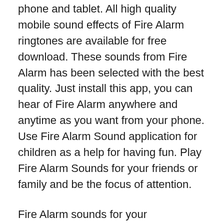phone and tablet. All high quality mobile sound effects of Fire Alarm ringtones are available for free download. These sounds from Fire Alarm has been selected with the best quality. Just install this app, you can hear of Fire Alarm anywhere and anytime as you want from your phone. Use Fire Alarm Sound application for children as a help for having fun. Play Fire Alarm Sounds for your friends or family and be the focus of attention.
Fire Alarm sounds for your entertainment and helps you relax after an hard day. This app is great for Fire Alarm watchers who can learn to identify various Fire Alarm sounds as a trick for spotting these beautiful Fire Alarm in the wild. Here Top Fire Alarm Ringtones you can listen and choose your favorite Fire Alarm song the most populate in the world. Open this free Fire Truck siren Sounds effects application, you can press the "Image for Fire Alarm" button to listen to the MP3 music tones. We hope you will enjoy our Fire Alarm sound Ringtones and Share with your friends